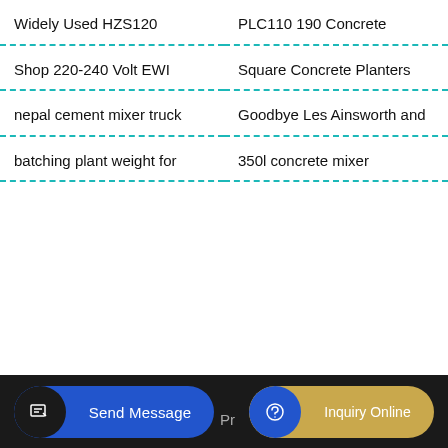Widely Used HZS120
PLC110 190 Concrete
Shop 220-240 Volt EWI
Square Concrete Planters
nepal cement mixer truck
Goodbye Les Ainsworth and
batching plant weight for
350l concrete mixer
Send Message   Pr   Inquiry Online